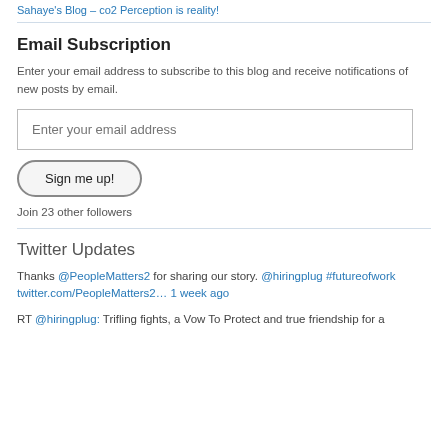Sahaye's Blog – co2 Perception is reality!
Email Subscription
Enter your email address to subscribe to this blog and receive notifications of new posts by email.
Enter your email address
Sign me up!
Join 23 other followers
Twitter Updates
Thanks @PeopleMatters2 for sharing our story. @hiringplug #futureofwork twitter.com/PeopleMatters2… 1 week ago
RT @hiringplug: Trifling fights, a Vow To Protect and true friendship for a